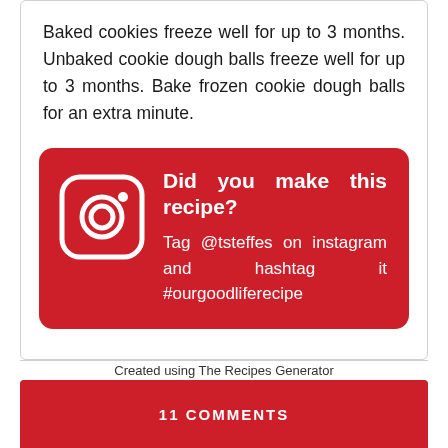Baked cookies freeze well for up to 3 months. Unbaked cookie dough balls freeze well for up to 3 months. Bake frozen cookie dough balls for an extra minute.
[Figure (infographic): Red rounded rectangle box with Instagram logo icon on the left and text 'Did you make this recipe? Tag @tsteffes on instagram and hashtag it #ourgoodliferecipe' in white on the right.]
Created using The Recipes Generator
11 COMMENTS